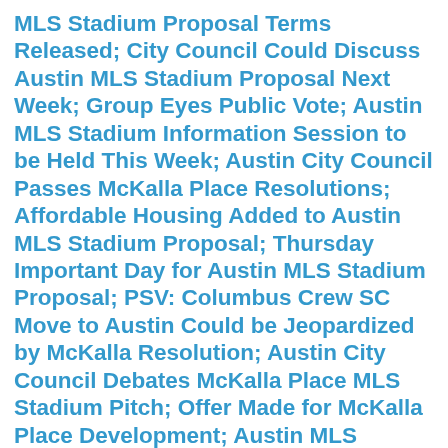MLS Stadium Proposal Terms Released; City Council Could Discuss Austin MLS Stadium Proposal Next Week; Group Eyes Public Vote; Austin MLS Stadium Information Session to be Held This Week; Austin City Council Passes McKalla Place Resolutions; Affordable Housing Added to Austin MLS Stadium Proposal; Thursday Important Day for Austin MLS Stadium Proposal; PSV: Columbus Crew SC Move to Austin Could be Jeopardized by McKalla Resolution; Austin City Council Debates McKalla Place MLS Stadium Pitch; Offer Made for McKalla Place Development; Austin MLS Stadium Plans Unveiled; New Information Surfacing on Austin MLS Stadium Pitch; Who Should Pay for Light Rail at New Austin MLS Stadium?; Site Concept Unveiled for Austin MLS Stadium at McKalla Place; Judge Sets 90-Day Toll in Columbus Crew SC Lawsuit; PSV Looks to Reach Austin Stadium Agreement in June; Ohio, Columbus Counter Claims From MLS and Crew SC; Affidavit: Prospective Crew SC Investor Never Signed Non-